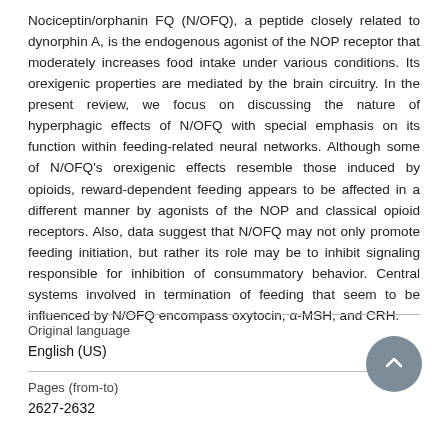Nociceptin/orphanin FQ (N/OFQ), a peptide closely related to dynorphin A, is the endogenous agonist of the NOP receptor that moderately increases food intake under various conditions. Its orexigenic properties are mediated by the brain circuitry. In the present review, we focus on discussing the nature of hyperphagic effects of N/OFQ with special emphasis on its function within feeding-related neural networks. Although some of N/OFQ's orexigenic effects resemble those induced by opioids, reward-dependent feeding appears to be affected in a different manner by agonists of the NOP and classical opioid receptors. Also, data suggest that N/OFQ may not only promote feeding initiation, but rather its role may be to inhibit signaling responsible for inhibition of consummatory behavior. Central systems involved in termination of feeding that seem to be influenced by N/OFQ encompass oxytocin, α-MSH, and CRH.
Original language
English (US)
Pages (from-to)
2627-2632